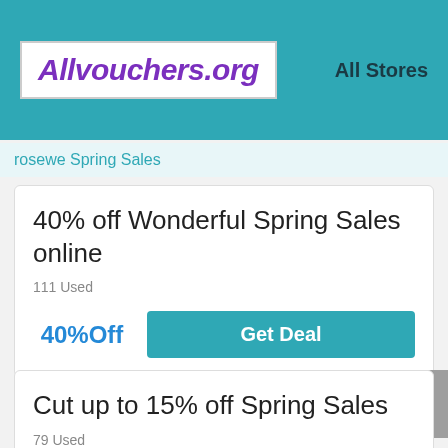Allvouchers.org   All Stores
rosewe Spring Sales
40% off Wonderful Spring Sales online
111 Used
40%Off
Get Deal
Cut up to 15% off Spring Sales
79 Used